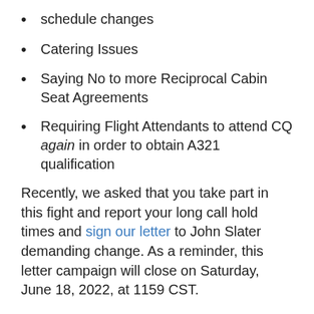schedule changes
Catering Issues
Saying No to more Reciprocal Cabin Seat Agreements
Requiring Flight Attendants to attend CQ again in order to obtain A321 qualification
Recently, we asked that you take part in this fight and report your long call hold times and sign our letter to John Slater demanding change. As a reminder, this letter campaign will close on Saturday, June 18, 2022, at 1159 CST.
In just two weeks you have signed over 8000 letters to John. It is an overwhelming show of